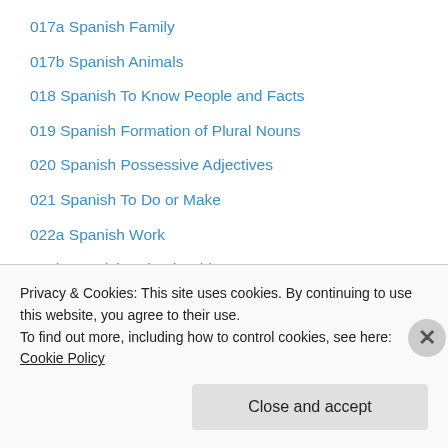017a Spanish Family
017b Spanish Animals
018 Spanish To Know People and Facts
019 Spanish Formation of Plural Nouns
020 Spanish Possessive Adjectives
021 Spanish To Do or Make
022a Spanish Work
022b Spanish School Subjects
023 Spanish Countries and Nationalities
024 Spanish To/In and From places
025 Spanish To Come and to Go
026 Spanish Misc. Words
027 Spanish Conjugating Regular Verbs
Privacy & Cookies: This site uses cookies. By continuing to use this website, you agree to their use.
To find out more, including how to control cookies, see here: Cookie Policy
Close and accept